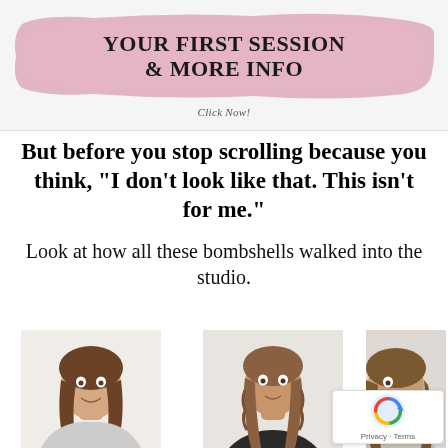[Figure (illustration): Pink brushstroke banner with bold black text reading 'YOUR FIRST SESSION & MORE INFO' and 'Click Now!' below]
But before you stop scrolling because you think, “I don’t look like that. This isn’t for me.”
Look at how all these bombshells walked into the studio.
[Figure (photo): Three women's portrait photos side by side at the bottom of the page, before/during studio session photos]
[Figure (logo): Google reCAPTCHA badge with Privacy and Terms links]